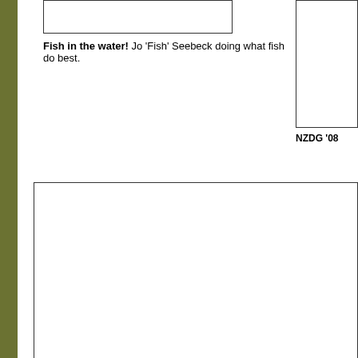[Figure (photo): Photo box top left, partially cropped at top]
Fish in the water! Jo 'Fish' Seebeck doing what fish do best.
[Figure (photo): Photo box top right, partially cropped]
NZDG '08
[Figure (photo): Large photo box in middle, empty white area]
Dave 'Serf' Hartley out the back waiting for a wave? No! He's anothe
[Figure (photo): Photo box at bottom, partially visible]